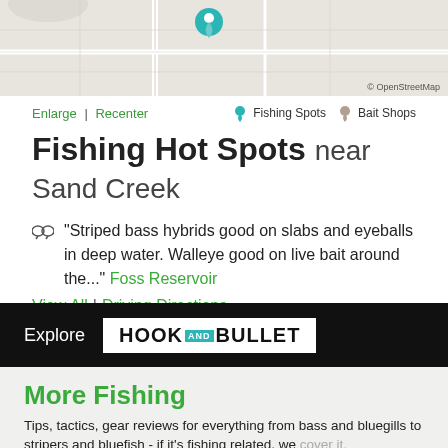[Figure (map): OpenStreetMap showing Sand Creek area with a teal location pin marker]
Enlarge | Recenter    🔵 Fishing Spots  🟤 Bait Shops
Fishing Hot Spots near Sand Creek
"Striped bass hybrids good on slabs and eyeballs in deep water. Walleye good on live bait around the..." Foss Reservoir
View All | Driving Directions
[Figure (logo): Explore Hook and Bullet logo on black background]
More Fishing
Tips, tactics, gear reviews for everything from bass and bluegills to stripers and bluefish - if it's fishing related, we cover it.